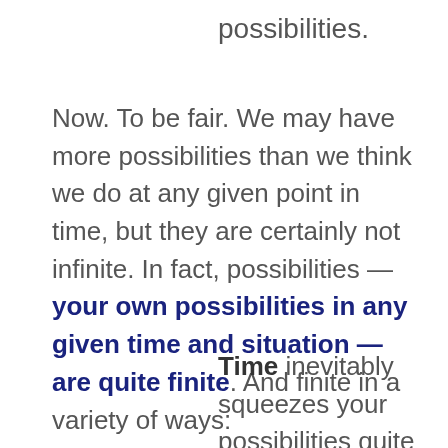possibilities.
Now. To be fair. We may have more possibilities than we think we do at any given point in time, but they are certainly not infinite. In fact, possibilities — your own possibilities in any given time and situation — are quite finite. And finite in a variety of ways:
Time inevitably squeezes your possibilities quite often into an